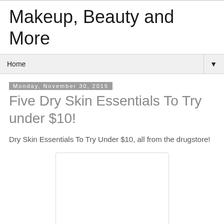Makeup, Beauty and More
Home
Monday, November 30, 2015
Five Dry Skin Essentials To Try under $10!
Dry Skin Essentials To Try Under $10, all from the drugstore!
[Figure (photo): Empty white image placeholder with light gray border]